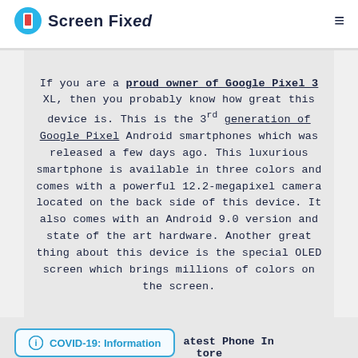Screen Fixed
If you are a proud owner of Google Pixel 3 XL, then you probably know how great this device is. This is the 3rd generation of Google Pixel Android smartphones which was released a few days ago. This luxurious smartphone is available in three colors and comes with a powerful 12.2-megapixel camera located on the back side of this device. It also comes with an Android 9.0 version and state of the art hardware. Another great thing about this device is the special OLED screen which brings millions of colors on the screen.
COVID-19: Information   latest Phone In Store